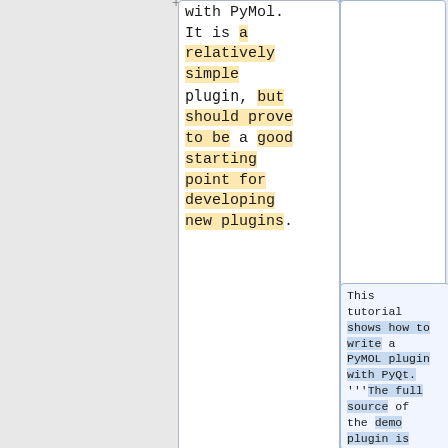with PyMol. It is a relatively simple plugin, but should prove to be a good starting point for developing new plugins.
This tutorial shows how to write a PyMOL plugin with PyQt. '''The full source of the demo plugin is [https://git